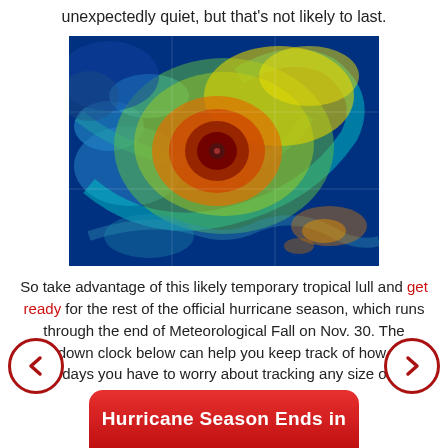unexpectedly quiet, but that's not likely to last.
[Figure (photo): Satellite infrared image of a hurricane showing the eye of the storm, with vivid colors from blue (outer bands) through green, yellow, orange, and red-brown at the eye wall center.]
So take advantage of this likely temporary tropical lull and get ready for the rest of the official hurricane season, which runs through the end of Meteorological Fall on Nov. 30. The countdown clock below can help you keep track of how many more days you have to worry about tracking any size or type of tropical storms.
Hurricane Season Ends in